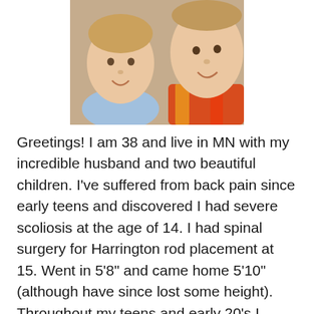[Figure (photo): Photo of two young children close together, smiling at the camera]
Greetings! I am 38 and live in MN with my incredible husband and two beautiful children. I've suffered from back pain since early teens and discovered I had severe scoliosis at the age of 14. I had spinal surgery for Harrington rod placement at 15. Went in 5'8" and came home 5'10"(although have since lost some height). Throughout my teens and early 20's I suffered immense pain Dr's accredited to sciatica, scoliosis, mental illness and/or being overweight. Not getting answers (or help of any kind) lead to self medicating for many years. At 30 I began experiencing neuropathy & many unexplainable ailments. I was diagnosed with